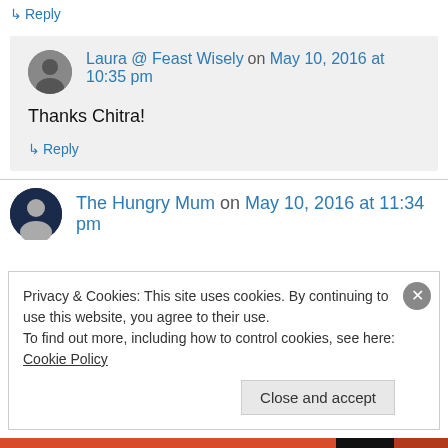↳ Reply
Laura @ Feast Wisely on May 10, 2016 at 10:35 pm
Thanks Chitra!
↳ Reply
The Hungry Mum on May 10, 2016 at 11:34 pm
Privacy & Cookies: This site uses cookies. By continuing to use this website, you agree to their use.
To find out more, including how to control cookies, see here: Cookie Policy
Close and accept